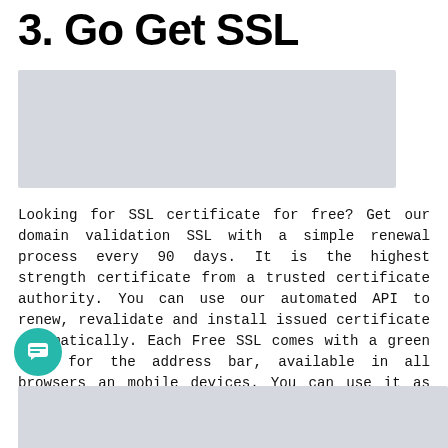3. Go Get SSL
[Figure (other): Gray placeholder image block at the top of the content area]
Looking for SSL certificate for free? Get our domain validation SSL with a simple renewal process every 90 days. It is the highest strength certificate from a trusted certificate authority. You can use our automated API to renew, revalidate and install issued certificate automatically. Each Free SSL comes with a green lock for the address bar, available in all browsers an mobile devices. You can use it as long as you want with a quick renewal process every 90-days.
[Figure (other): Gray placeholder image block at the bottom of the page (partially visible)]